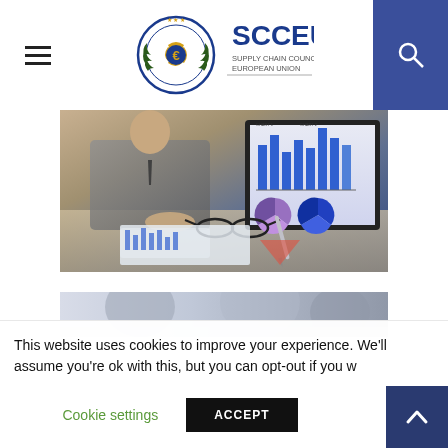SCCEU Supply Chain Council of European Union - navigation header with hamburger menu and search
[Figure (photo): Business professional working on laptop with financial charts and graphs visible on screen; glasses and pen on printed chart documents on desk]
[Figure (photo): Partial view of a second business/meeting photo]
This website uses cookies to improve your experience. We'll assume you're ok with this, but you can opt-out if you w
Cookie settings
ACCEPT